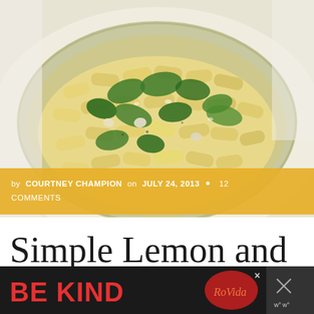[Figure (photo): A bowl of pasta rigatoni with arugula greens and white beans in a light creamy lemon sauce, served in a pale green ceramic bowl on a white cloth background]
by COURTNEY CHAMPION on JULY 24, 2013 • 12 COMMENTS
Simple Lemon and Arugula Pasta
[Figure (infographic): Bottom advertisement banner with 'BE KIND' text in red and pink on dark background with decorative red illustrated logo and WW (Weight Watchers) logo icon]